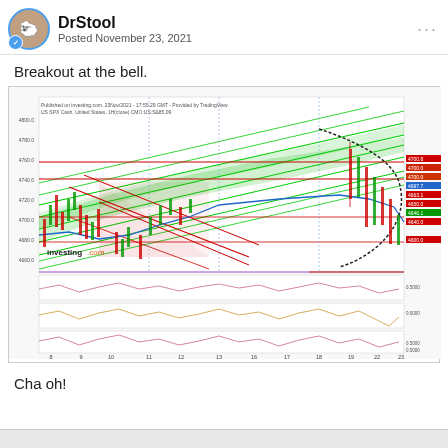DrStool — Posted November 23, 2021
Breakout at the bell.
[Figure (continuous-plot): S&P 500 intraday candlestick chart with green channel lines, red horizontal support/resistance levels, blue moving average, and bearish arc overlay. Published on investing.com, 23Nov2021. Three oscillator panels below the main price panel. Price labels on right axis including 4700.8, 4700.0, 4700.0, 4697.7, 4663.1, 4650.0, 4646.1, 4640.0, 4600.0, 4784.8, 4840.0, 4803.8. X-axis labels: 8, 9, 10, 11, 12, 13, 16, 17, 18, 19, 22, 23.]
Cha oh!